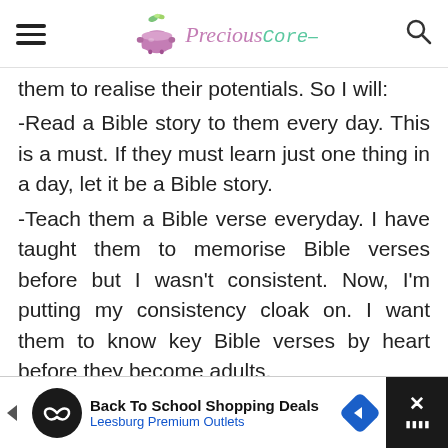[Figure (logo): Precious Core blog header with hamburger menu, pot logo, brand name and search icon]
them to realise their potentials. So I will:
-Read a Bible story to them every day. This is a must. If they must learn just one thing in a day, let it be a Bible story.
-Teach them a Bible verse everyday. I have taught them to memorise Bible verses before but I wasn't consistent. Now, I'm putting my consistency cloak on. I want them to know key Bible verses by heart before they become adults.
[Figure (screenshot): Advertisement banner: Back To School Shopping Deals - Leesburg Premium Outlets with navigation icon and close button]